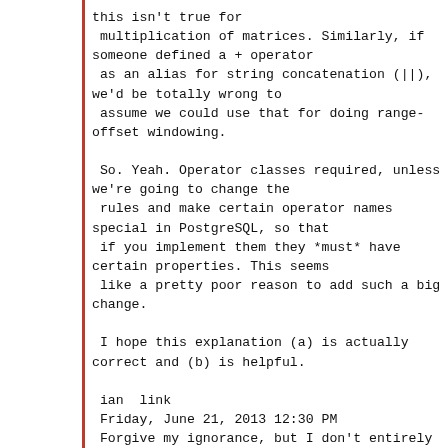this isn't true for
 multiplication of matrices. Similarly, if
someone defined a + operator
 as an alias for string concatenation (||),
we'd be totally wrong to
 assume we could use that for doing range-
offset windowing.

 So. Yeah. Operator classes required, unless
we're going to change the
 rules and make certain operator names
special in PostgreSQL, so that
 if you implement them they *must* have
certain properties. This seems
 like a pretty poor reason to add such a big
change.

 I hope this explanation (a) is actually
correct and (b) is helpful.

 ian  link
 Friday, June 21, 2013 12:30 PM
 Forgive my ignorance, but I don't entirely